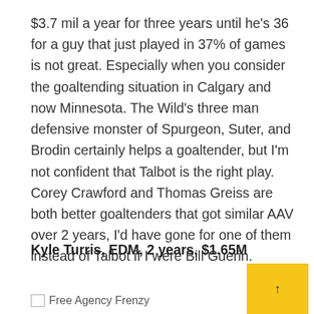$3.7 mil a year for three years until he's 36 for a guy that just played in 37% of games is not great. Especially when you consider the goaltending situation in Calgary and now Minnesota. The Wild's three man defensive monster of Spurgeon, Suter, and Brodin certainly helps a goaltender, but I'm not confident that Talbot is the right play. Corey Crawford and Thomas Greiss are both better goaltenders that got similar AAV over 2 years, I'd have gone for one of them instead of Talbot if I were Bill Guerin.
Kyle Turris, EDM, 2 years, $1.65M
Free Agency Frenzy